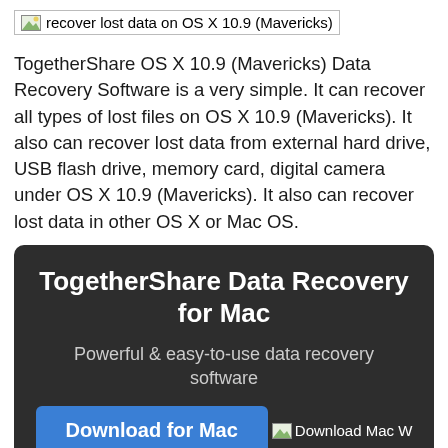[Figure (other): Image placeholder: recover lost data on OS X 10.9 (Mavericks)]
TogetherShare OS X 10.9 (Mavericks) Data Recovery Software is a very simple. It can recover all types of lost files on OS X 10.9 (Mavericks). It also can recover lost data from external hard drive, USB flash drive, memory card, digital camera under OS X 10.9 (Mavericks). It also can recover lost data in other OS X or Mac OS.
TogetherShare Data Recovery for Mac
Powerful & easy-to-use data recovery software
[Figure (other): Download for Mac button with Download Mac image placeholder]